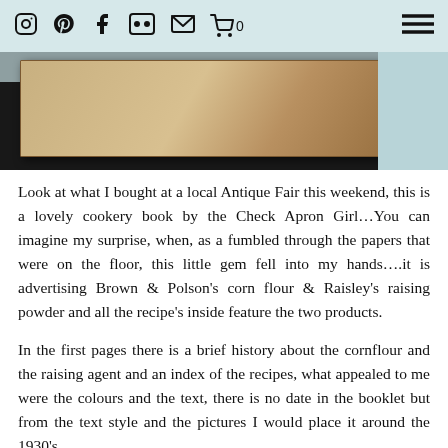Instagram Pinterest Facebook Flickr Email Cart 0 | Menu
[Figure (photo): Photo of an old cookery book / booklet partially visible against a dark background, with a light blue/teal background visible on the right side.]
Look at what I bought at a local Antique Fair this weekend, this is a lovely cookery book by the Check Apron Girl…You can imagine my surprise, when, as a fumbled through the papers that were on the floor, this little gem fell into my hands….it is advertising Brown & Polson's corn flour & Raisley's raising powder and all the recipe's inside feature the two products.
In the first pages there is a brief history about the cornflour and the raising agent and an index of the recipes, what appealed to me were the colours and the text, there is no date in the booklet but from the text style and the pictures I would place it around the 1930's.
Thats what I like about looking for vintage pieces – you never know what you will find! So interesting, those little